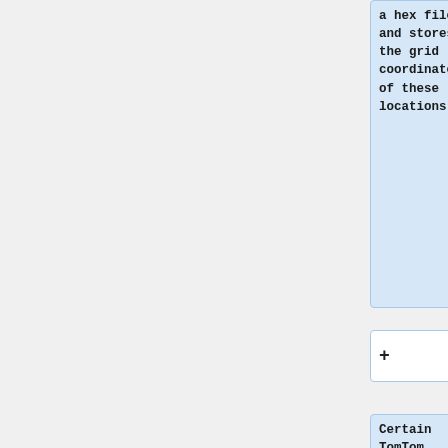a hex file and stores the grid coordinates of these locations.
+
Certain TomTom models (Go 510, Go 910, Go 920 etc.) allow the user to pair their mobile phone to the device so they can use the